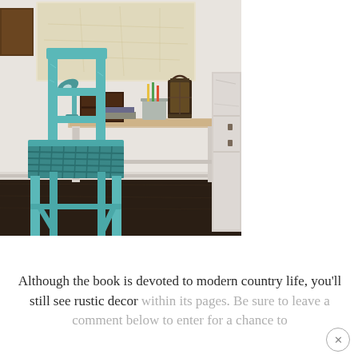[Figure (photo): A rustic interior scene featuring a distressed teal/turquoise painted wooden chair with a woven seat, positioned in front of a white painted wooden desk. On the desk are a small wooden box with drawers, a metal bucket with pencils, a lantern, and some books. In the background is a white wall with a large vintage map hanging on it. The floor is dark hardwood. A partially visible white distressed cabinet is on the right.]
Although the book is devoted to modern country life, you'll still see rustic decor within its pages. Be sure to leave a comment below to enter for a chance to